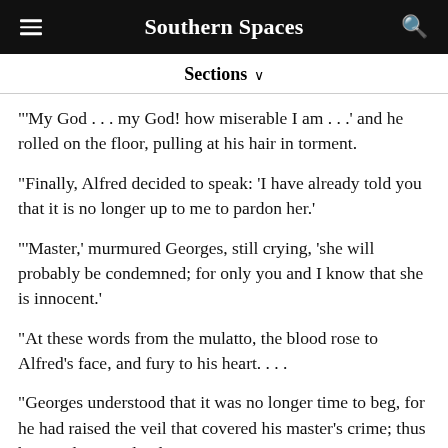Southern Spaces
Sections ∨
"'My God . . . my God! how miserable I am . . .' and he rolled on the floor, pulling at his hair in torment.
"Finally, Alfred decided to speak: 'I have already told you that it is no longer up to me to pardon her.'
"'Master,' murmured Georges, still crying, 'she will probably be condemned; for only you and I know that she is innocent.'
"At these words from the mulatto, the blood rose to Alfred's face, and fury to his heart. . . .
"Georges understood that it was no longer time to beg, for he had raised the veil that covered his master's crime; thus he stood up resolutely.